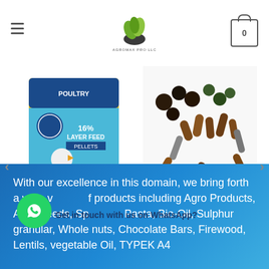[Figure (logo): AGROMAX PRO LLC logo with olive/leaf design]
[Figure (photo): Layer Fowl Feed product image - 16% Layer Feed Pellets bag with chicken]
ANIMAL FEED
Layer Fowl Feed
[Figure (photo): Pallet Feed Variety product image - assorted animal feed pellets and grains]
ANIMAL FEED
Pallet Feed Variety
With our excellence in this domain, we bring forth a wide variety of products including Agro Products, Agro Seeds, Spaghetti Pasta, Bio-Oil, Sulphur granular, Whole nuts, Chocolate Bars, Firewood, Lentils, vegetable Oil, TYPEK A4
Get in touch with us on WhatsApp?